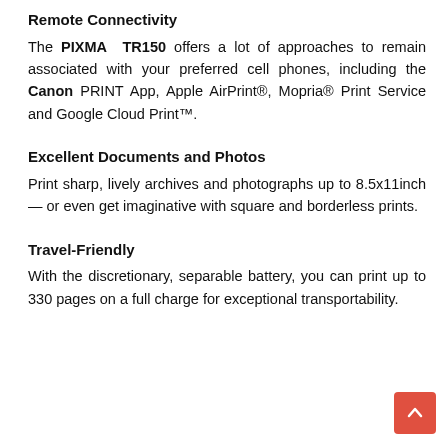Remote Connectivity
The PIXMA TR150 offers a lot of approaches to remain associated with your preferred cell phones, including the Canon PRINT App, Apple AirPrint®, Mopria® Print Service and Google Cloud Print™.
Excellent Documents and Photos
Print sharp, lively archives and photographs up to 8.5x11inch — or even get imaginative with square and borderless prints.
Travel-Friendly
With the discretionary, separable battery, you can print up to 330 pages on a full charge for exceptional transportability.